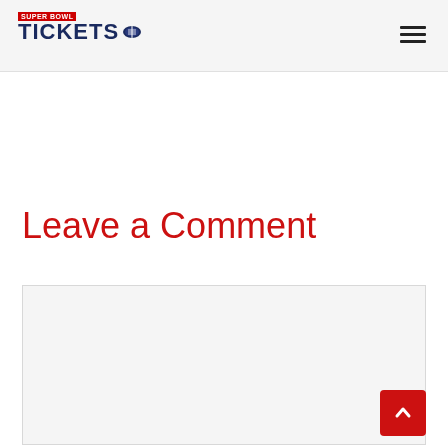SUPER BOWL TICKETS
Leave a Comment